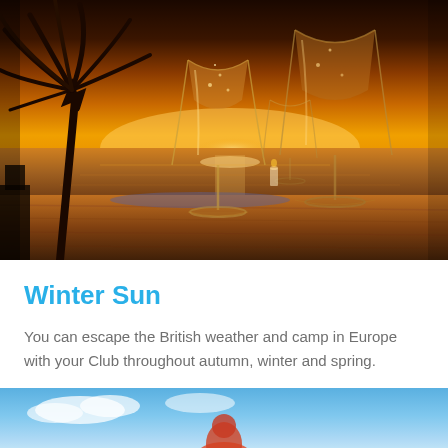[Figure (photo): Tropical sunset scene with two champagne flutes on a wooden table, silhouette of palm tree in background, golden orange sky reflecting on water]
Winter Sun
You can escape the British weather and camp in Europe with your Club throughout autumn, winter and spring.
[Figure (photo): Partial image showing blue sky with clouds and figure, bottom of page]